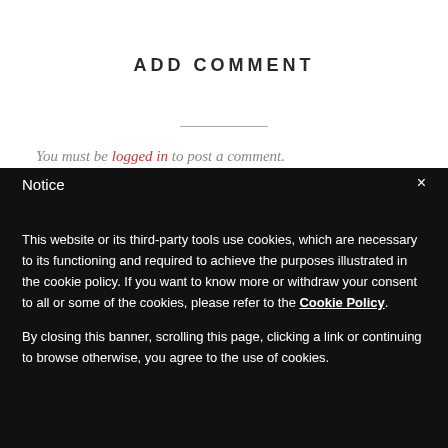ADD COMMENT
You must be logged in to post a comment.
Notice
This website or its third-party tools use cookies, which are necessary to its functioning and required to achieve the purposes illustrated in the cookie policy. If you want to know more or withdraw your consent to all or some of the cookies, please refer to the Cookie Policy.
By closing this banner, scrolling this page, clicking a link or continuing to browse otherwise, you agree to the use of cookies.